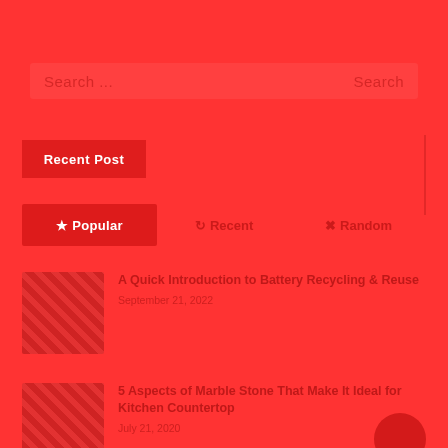Search ...
Search
Recent Post
Popular
Recent
Random
[Figure (photo): Thumbnail image for battery recycling article]
A Quick Introduction to Battery Recycling & Reuse
September 21, 2022
[Figure (photo): Thumbnail image for marble stone kitchen countertop article]
5 Aspects of Marble Stone That Make It Ideal for Kitchen Countertop
July 21, 2020